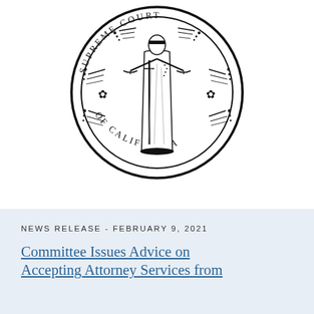[Figure (logo): Seal of the Supreme Court of California — circular seal with Lady Justice holding scales and a sword, text reading 'SUPREME COURT OF CALIFORNIA' around the border]
NEWS RELEASE - FEBRUARY 9, 2021
Committee Issues Advice on Accepting Attorney Services from